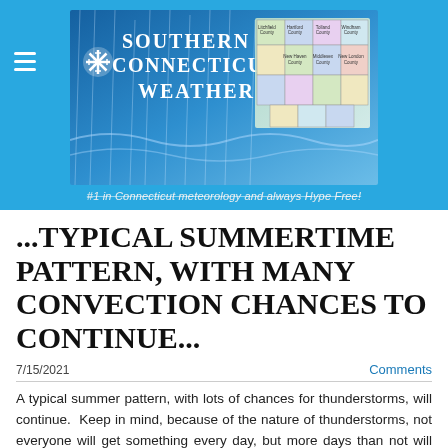[Figure (logo): Southern Connecticut Weather website header banner with snowflake logo, stylized text 'Southern Connecticut Weather' on a blue rainy background, and a map of Connecticut counties on the right side]
#1 in Connecticut meteorology and always Hype Free!
...TYPICAL SUMMERTIME PATTERN, WITH MANY CONVECTION CHANCES TO CONTINUE...
7/15/2021
Comments
A typical summer pattern, with lots of chances for thunderstorms, will continue.  Keep in mind, because of the nature of thunderstorms, not everyone will get something every day, but more days than not will have at least a shower.